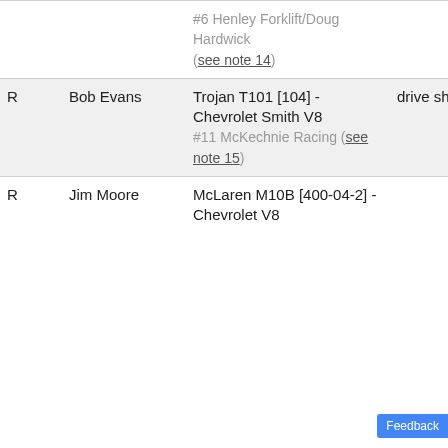| Status | Driver | Car | Reason |
| --- | --- | --- | --- |
|  |  | #6 Henley Forklift/Doug Hardwick (see note 14) |  |
| R | Bob Evans | Trojan T101 [104] - Chevrolet Smith V8
#11 McKechnie Racing (see note 15) | drive shaft |
| R | Jim Moore | McLaren M10B [400-04-2] - Chevrolet V8 |  |